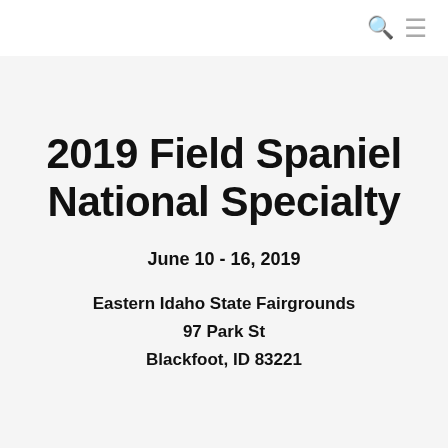2019 Field Spaniel National Specialty
June 10 - 16, 2019
Eastern Idaho State Fairgrounds
97 Park St
Blackfoot, ID 83221